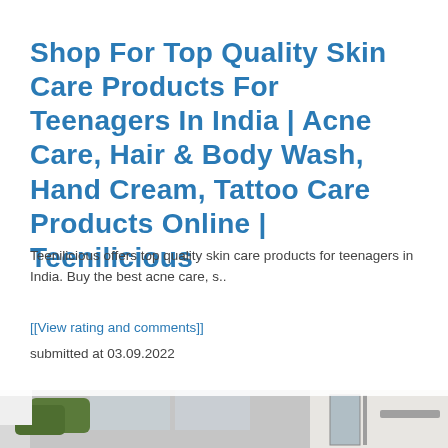Shop For Top Quality Skin Care Products For Teenagers In India | Acne Care, Hair & Body Wash, Hand Cream, Tattoo Care Products Online | Teenilicious
Teenilicious offers top quality skin care products for teenagers in India. Buy the best acne care, s..
[[View rating and comments]]
submitted at 03.09.2022
[Figure (photo): Partial photograph showing a building exterior with trees and glass/metal doors, cropped at the bottom of the page]